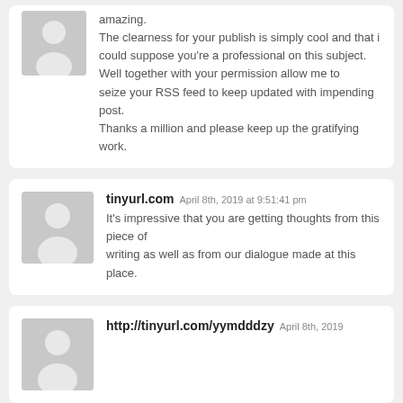amazing. The clearness for your publish is simply cool and that i could suppose you're a professional on this subject. Well together with your permission allow me to seize your RSS feed to keep updated with impending post. Thanks a million and please keep up the gratifying work.
tinyurl.com April 8th, 2019 at 9:51:41 pm
It's impressive that you are getting thoughts from this piece of writing as well as from our dialogue made at this place.
http://tinyurl.com/yymdddzy April 8th, 2019